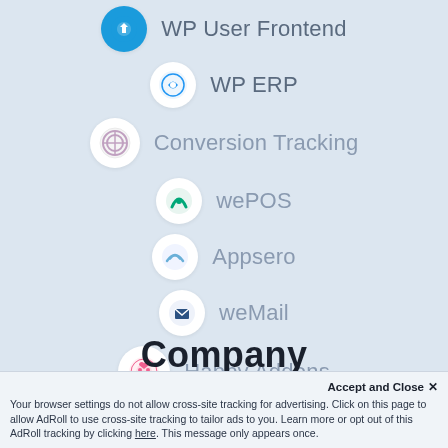WP User Frontend
WP ERP
Conversion Tracking
wePOS
Appsero
weMail
Happy Addons
Company
Accept and Close ✕
Your browser settings do not allow cross-site tracking for advertising. Click on this page to allow AdRoll to use cross-site tracking to tailor ads to you. Learn more or opt out of this AdRoll tracking by clicking here. This message only appears once.